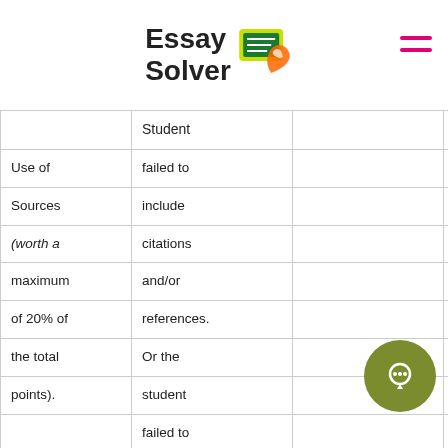Essay Solver
|  |  |  |  |
| --- | --- | --- | --- |
|  | Student |  | as APA |
| Use of | failed to |  | format. |
| Sources | include |  | major er |
| (worth a | citations |  | formatio |
| maximum | and/or |  | referenc |
| of 20% of | references. |  | citation |
| the total | Or the |  | there is |
| points). | student |  | reliance |
|  | failed to |  | questio |
|  | submit a |  | Student |
|  | final paper |  | ovide |
|  |  |  | dequa |